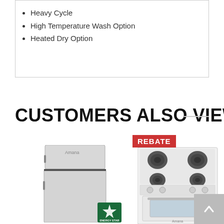Heavy Cycle
High Temperature Wash Option
Heated Dry Option
CUSTOMERS ALSO VIEWED
[Figure (photo): Silver top-freezer refrigerator with Energy Star badge]
[Figure (photo): White electric range/stove with coil burners and oven window, REBATE badge overlay]